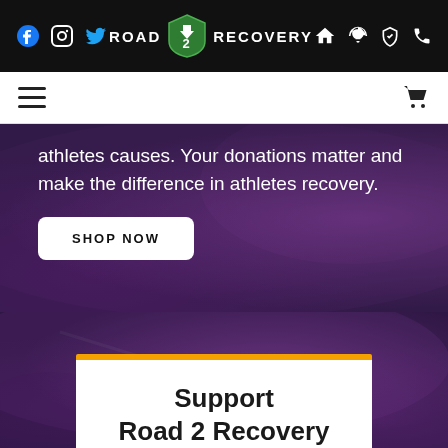Road 2 Recovery — navigation bar with social icons (Facebook, Instagram, Twitter), logo, and right icons (home, shield, phone)
[Figure (screenshot): Sub navigation bar with hamburger menu on left and shopping cart icon on right]
athletes causes. Your donations matter and make the difference in athletes recovery.
SHOP NOW
[Figure (photo): Background image of sports stadium crowd with purple/violet tones, semi-transparent dark overlay]
Support Road 2 Recovery Foundation.